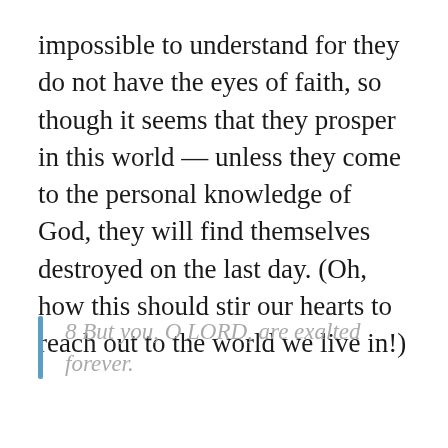impossible to understand for they do not have the eyes of faith, so though it seems that they prosper in this world — unless they come to the personal knowledge of God, they will find themselves destroyed on the last day. (Oh, how this should stir our hearts to reach out to the world we live in!)
8 But you, O LORD, are exalted forever.
In stark contrast against those who reject God, He will be forever exalted. One day, we who call on His name, will